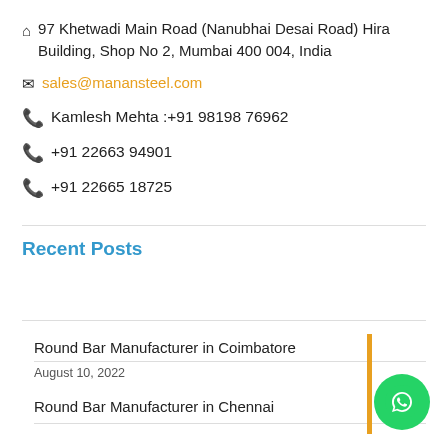97 Khetwadi Main Road (Nanubhai Desai Road) Hira Building, Shop No 2, Mumbai 400 004, India
sales@manansteel.com
Kamlesh Mehta :+91 98198 76962
+91 22663 94901
+91 22665 18725
Recent Posts
Round Bar Manufacturer in Coimbatore
August 10, 2022
Round Bar Manufacturer in Chennai